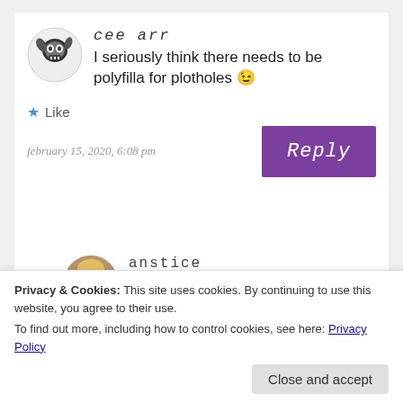cee arr
I seriously think there needs to be polyfilla for plotholes 😉
★ Like
february 15, 2020, 6:08 pm
[Figure (illustration): Purple Reply button with cursive text]
anstice
That would be so awesome and would save me so much time!
Privacy & Cookies: This site uses cookies. By continuing to use this website, you agree to their use.
To find out more, including how to control cookies, see here: Privacy Policy
Close and accept